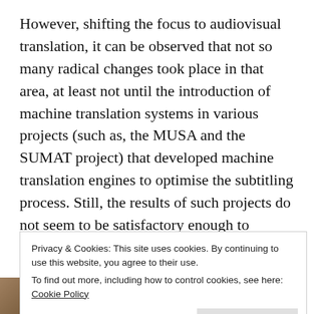However, shifting the focus to audiovisual translation, it can be observed that not so many radical changes took place in that area, at least not until the introduction of machine translation systems in various projects (such as, the MUSA and the SUMAT project) that developed machine translation engines to optimise the subtitling process. Still, the results of such projects do not seem to be satisfactory enough to inspire confidence for the implementation of these engines in the subtitling process both by subtitling software developers and subtitlers.
Privacy & Cookies: This site uses cookies. By continuing to use this website, you agree to their use. To find out more, including how to control cookies, see here: Cookie Policy
[Figure (photo): Partial photo strip at the bottom of the page showing what appears to be a desk or workspace, partially obscured by the cookie banner.]